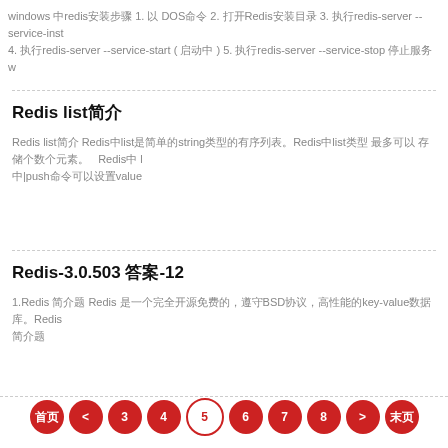windows 中redis安装步骤 1. 以 DOS命令 2. 打开Redis安装目录 3. 执行redis-server --service-install 4. 执行redis-server --service-start ( 启动中 ) 5. 执行redis-server --service-stop 停止服务 w 4. 执行redis-server --service-start ( 启动中 ) 5. 执行redis-server --service-stop 停止服务
Redis list简介
Redis list简介 Redis中list是简单的string类型的有序列表。Redis中list类型 最多可以 存储个数为个元素。  Redis中 l push命令可以设置value
Redis-3.0.503 答案-12
1.Redis 简介题 Redis 是一个完全开源免费的，遵守BSD协议，是一个高性能的key-value数据库。Redis 简介题
首页 < 3 4 5 6 7 8 > 末页